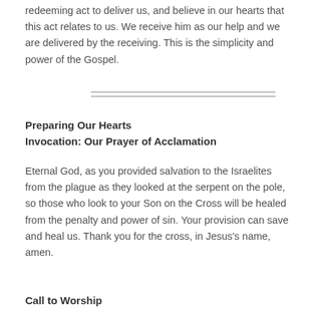redeeming act to deliver us, and believe in our hearts that this act relates to us. We receive him as our help and we are delivered by the receiving. This is the simplicity and power of the Gospel.
Preparing Our Hearts
Invocation: Our Prayer of Acclamation
Eternal God, as you provided salvation to the Israelites from the plague as they looked at the serpent on the pole, so those who look to your Son on the Cross will be healed from the penalty and power of sin. Your provision can save and heal us. Thank you for the cross, in Jesus’s name, amen.
Call to Worship